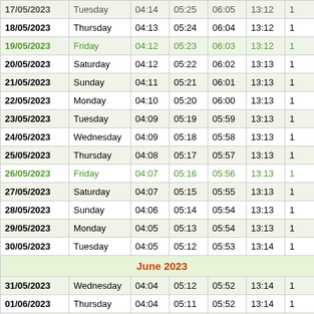| Date | Day | Col3 | Col4 | Col5 | Col6 | Col7 |
| --- | --- | --- | --- | --- | --- | --- |
| 17/05/2023 | Tuesday | 04:14 | 05:25 | 06:05 | 13:12 | 1 |
| 18/05/2023 | Thursday | 04:13 | 05:24 | 06:04 | 13:12 | 1 |
| 19/05/2023 | Friday | 04:12 | 05:23 | 06:03 | 13:12 | 1 |
| 20/05/2023 | Saturday | 04:12 | 05:22 | 06:02 | 13:13 | 1 |
| 21/05/2023 | Sunday | 04:11 | 05:21 | 06:01 | 13:13 | 1 |
| 22/05/2023 | Monday | 04:10 | 05:20 | 06:00 | 13:13 | 1 |
| 23/05/2023 | Tuesday | 04:09 | 05:19 | 05:59 | 13:13 | 1 |
| 24/05/2023 | Wednesday | 04:09 | 05:18 | 05:58 | 13:13 | 1 |
| 25/05/2023 | Thursday | 04:08 | 05:17 | 05:57 | 13:13 | 1 |
| 26/05/2023 | Friday | 04:07 | 05:16 | 05:56 | 13:13 | 1 |
| 27/05/2023 | Saturday | 04:07 | 05:15 | 05:55 | 13:13 | 1 |
| 28/05/2023 | Sunday | 04:06 | 05:14 | 05:54 | 13:13 | 1 |
| 29/05/2023 | Monday | 04:05 | 05:13 | 05:54 | 13:13 | 1 |
| 30/05/2023 | Tuesday | 04:05 | 05:12 | 05:53 | 13:14 | 1 |
| June 2023 |  |  |  |  |  |  |
| 31/05/2023 | Wednesday | 04:04 | 05:12 | 05:52 | 13:14 | 1 |
| 01/06/2023 | Thursday | 04:04 | 05:11 | 05:52 | 13:14 | 1 |
| 02/06/2023 | Friday | 04:04 | 05:10 | 05:51 | 13:14 | 1 |